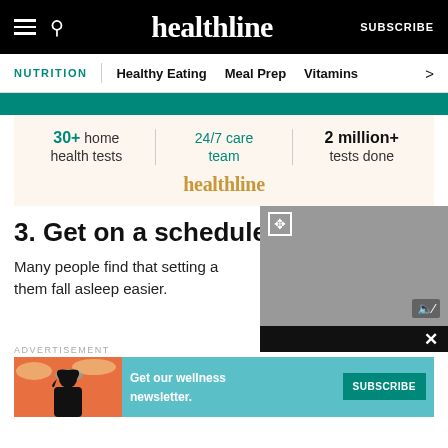healthline | SUBSCRIBE
NUTRITION | Healthy Eating | Meal Prep | Vitamins
[Figure (other): Teal banner strip]
[Figure (infographic): Ad block: 30+ home health tests | 24/7 care team | 2 million+ tests done. healthline logo in gold.]
3. Get on a schedule
Many people find that setting a them fall asleep easier.
[Figure (screenshot): Video player overlay with gray area, expand icon, mute icon, and black control bar with close X button]
ADVERTISEMENT
[Figure (infographic): Bottom advertisement banner: illustration of woman with teal/orange background. Text: Get our wellness newsletter. SUBSCRIBE button.]